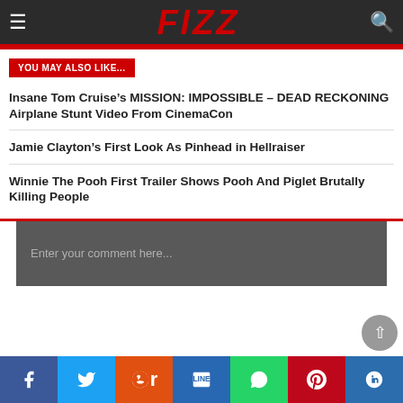FIZZ
YOU MAY ALSO LIKE...
Insane Tom Cruise’s MISSION: IMPOSSIBLE – DEAD RECKONING Airplane Stunt Video From CinemaCon
Jamie Clayton’s First Look As Pinhead in Hellraiser
Winnie The Pooh First Trailer Shows Pooh And Piglet Brutally Killing People
Enter your comment here...
Facebook | Twitter | Reddit | Line | WhatsApp | Pinterest | Krown